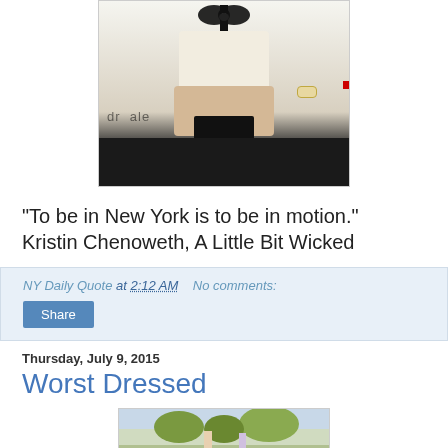[Figure (photo): A woman wearing a white top with a black bow at the chest and holding a black clutch, with a pearl bracelet visible. Background shows 'dr...ale' text (event backdrop).]
"To be in New York is to be in motion." Kristin Chenoweth, A Little Bit Wicked
NY Daily Quote at 2:12 AM    No comments:
Share
Thursday, July 9, 2015
Worst Dressed
[Figure (photo): Partial view of another photo, bottom of page, showing outdoor scene with figures.]